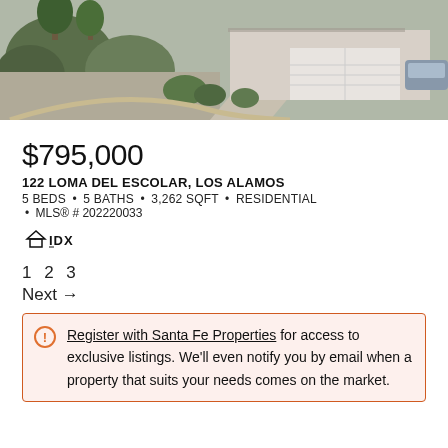[Figure (photo): Exterior photo of a single-story residential home with gravel landscaping, shrubs, and a two-car garage. The driveway leads to a large white garage door. A car is partially visible in the driveway.]
$795,000
122 LOMA DEL ESCOLAR, LOS ALAMOS
5 BEDS • 5 BATHS • 3,262 SQFT • RESIDENTIAL • MLS® # 202220033
[Figure (logo): IDX logo — black text with a house icon above]
1 2 3
Next →
Register with Santa Fe Properties for access to exclusive listings. We'll even notify you by email when a property that suits your needs comes on the market.